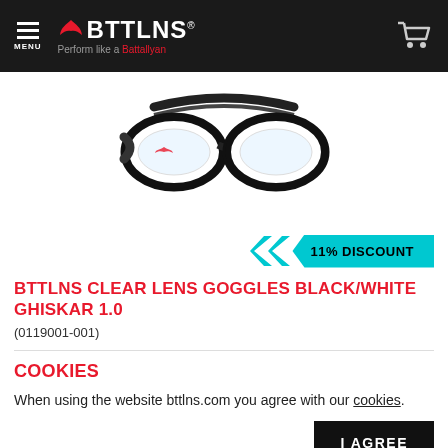BTTLNS — Perform like a Battallyan
[Figure (photo): BTTLNS clear lens swimming goggles, black frame with white accents, on white background]
11% DISCOUNT
BTTLNS CLEAR LENS GOGGLES BLACK/WHITE GHISKAR 1.0
(0119001-001)
COOKIES
When using the website bttlns.com you agree with our cookies.
I AGREE